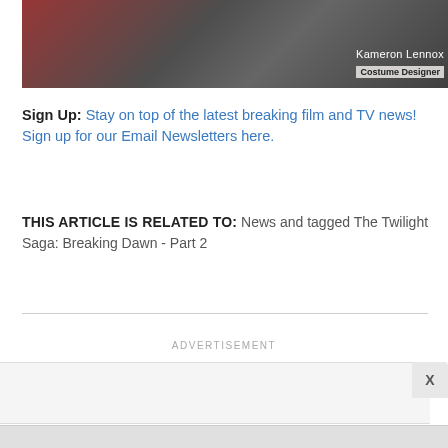[Figure (photo): Video thumbnail/screenshot showing people at an event with overlay text 'Kameron Lennox' and subtitle 'Costume Designer']
Sign Up: Stay on top of the latest breaking film and TV news! Sign up for our Email Newsletters here.
THIS ARTICLE IS RELATED TO: News and tagged The Twilight Saga: Breaking Dawn - Part 2
ADVERTISEMENT